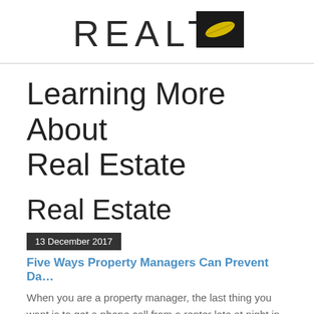REALTY [logo]
Learning More About Real Estate
Real Estate
13 December 2017
Five Ways Property Managers Can Prevent Da…
When you are a property manager, the last thing you want is to get a phone call from a renter late at night in which you find out that the basement is flooding, there's a major leak in the roof, or a fire has swept through the building. While accidents will alway